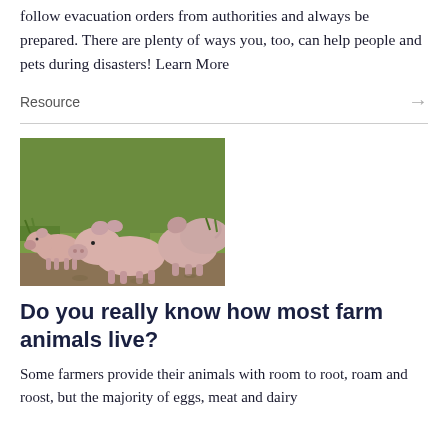follow evacuation orders from authorities and always be prepared. There are plenty of ways you, too, can help people and pets during disasters! Learn More
Resource
[Figure (photo): Three young piglets standing on grass and dirt outdoors]
Do you really know how most farm animals live?
Some farmers provide their animals with room to root, roam and roost, but the majority of eggs, meat and dairy